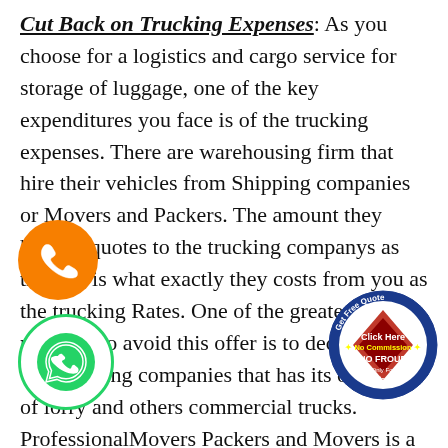Cut Back on Trucking Expenses: As you choose for a logistics and cargo service for storage of luggage, one of the key expenditures you face is of the trucking expenses. There are warehousing firm that hire their vehicles from Shipping companies or Movers and Packers. The amount they have to quotes to the trucking companys as the rent is what exactly they costs from you as the trucking Rates. One of the greatest methods to avoid this offer is to decide for a warehousing companies that has its own fleet of lorry and others commercial trucks. ProfessionalMovers Packers and Movers is a well believed and reputed name among the web directories that joins people with Movers and packers that supports in encountering a hassle free moved. For relocation in the cities of Chennai to
[Figure (illustration): Orange circle with white phone/call icon]
[Figure (logo): Green circle WhatsApp icon]
[Figure (logo): Circular blue/red badge reading: Get Free Quote, Click Here, No Commission, NO FROUD, Only For Packers and Movers]